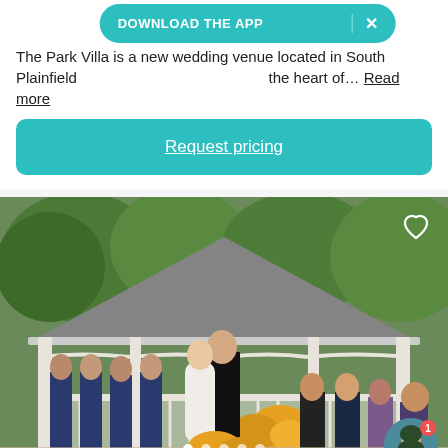The Park Villa is a new wedding venue located in South Plainfield... the heart of... Read more
DOWNLOAD THE APP  ×
Request pricing
[Figure (photo): Outdoor wedding ceremony at a white gazebo. Couple kissing at the altar with bridesmaids in navy blue dresses on the left and guests seated on the right. Yellow and purple flowers visible. Fall foliage in the background.]